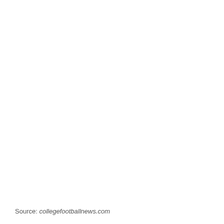Source: collegefootballnews.com